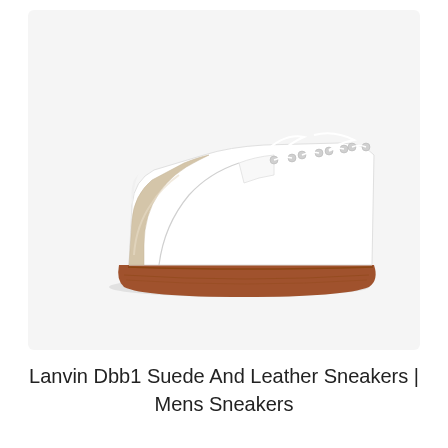[Figure (photo): A white low-top sneaker with a beige/cream suede toe cap and a brown gum rubber sole, shown in profile view against a light gray background. The shoe has white laces and metallic silver eyelets. This is the Lanvin Dbb1 Suede And Leather Sneaker.]
Lanvin Dbb1 Suede And Leather Sneakers | Mens Sneakers